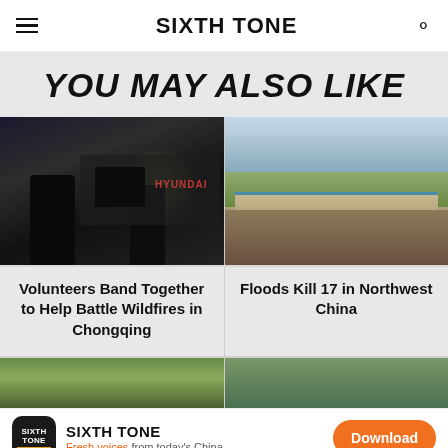SIXTH TONE
YOU MAY ALSO LIKE
[Figure (photo): Night scene with dark silhouettes of people and a motorcycle/vehicle with a Hyundai logo visible in low light]
[Figure (photo): Daytime flood aftermath photo showing debris and mud in front of commercial buildings in northwest China]
Volunteers Band Together to Help Battle Wildfires in Chongqing
Floods Kill 17 in Northwest China
[Figure (photo): Partial view of green plants/leaves — bottom left thumbnail]
[Figure (photo): Partial view of outdoor scene — bottom right thumbnail]
SIXTH TONE — Fresh voices from today's China — Download